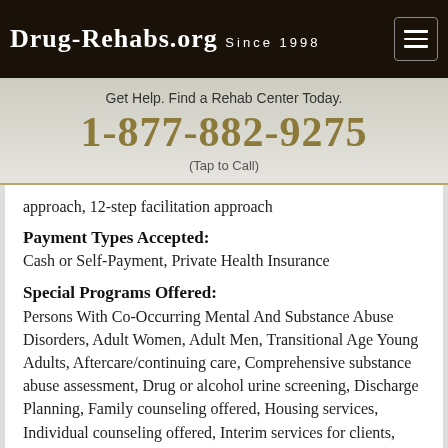Drug-Rehabs.org Since 1998
Get Help. Find a Rehab Center Today.
1-877-882-9275
(Tap to Call)
approach, 12-step facilitation approach
Payment Types Accepted:
Cash or Self-Payment, Private Health Insurance
Special Programs Offered:
Persons With Co-Occurring Mental And Substance Abuse Disorders, Adult Women, Adult Men, Transitional Age Young Adults, Aftercare/continuing care, Comprehensive substance abuse assessment, Drug or alcohol urine screening, Discharge Planning, Family counseling offered, Housing services, Individual counseling offered, Interim services for clients, Marital/couples counseling offered, Mental health services, Substance abuse education,